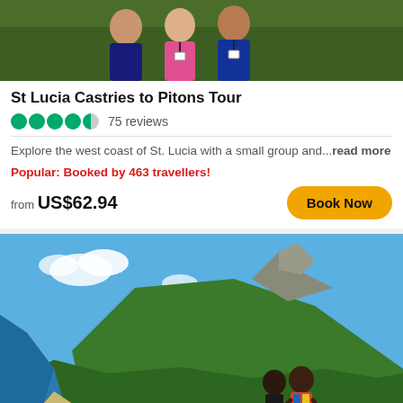[Figure (photo): Group of tourists posing outdoors in St. Lucia]
St Lucia Castries to Pitons Tour
75 reviews
Explore the west coast of St. Lucia with a small group and...read more
Popular: Booked by 463 travellers!
from US$62.94
[Figure (photo): Two people standing on a hilltop overlooking the Pitons and coastline of St. Lucia]